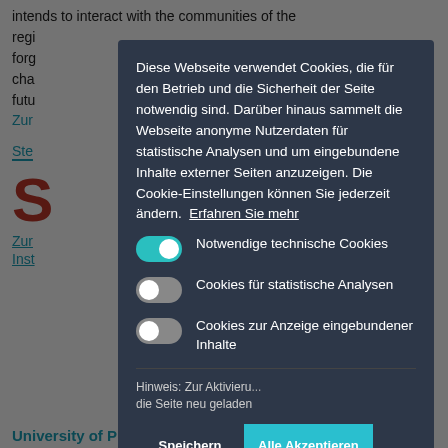intends to interact with the communities of the regi... forg... cha... futu...
Zur...
Ste...
S...
Zur...
Inst...
University of Pretoria - Südafrika
Diese Webseite verwendet Cookies, die für den Betrieb und die Sicherheit der Seite notwendig sind. Darüber hinaus sammelt die Webseite anonyme Nutzerdaten für statistische Analysen und um eingebundene Inhalte externer Seiten anzuzeigen. Die Cookie-Einstellungen können Sie jederzeit ändern.  Erfahren Sie mehr
Notwendige technische Cookies
Cookies für statistische Analysen
Cookies zur Anzeige eingebundener Inhalte
Hinweis: Zur Aktivieru... die Seite neu geladen
Speichern
Alle Akzeptieren